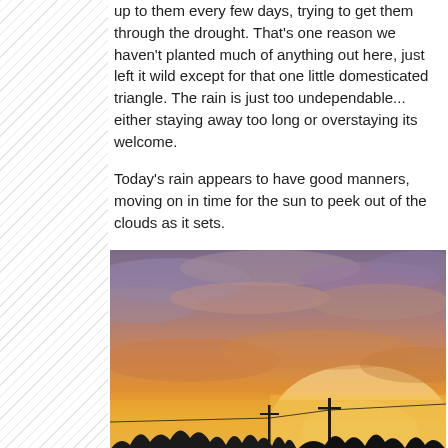up to them every few days, trying to get them through the drought. That's one reason we haven't planted much of anything out here, just left it wild except for that one little domesticated triangle. The rain is just too undependable... either staying away too long or overstaying its welcome.

Today's rain appears to have good manners, moving on in time for the sun to peek out of the clouds as it sets.
[Figure (photo): Sunset photo showing silhouettes of trees and utility poles against a dramatic orange and purple sky with clouds. Watermark reads 'Barbara Shatler 2010'.]